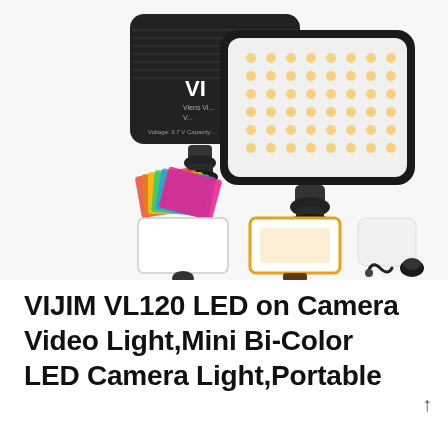[Figure (photo): Product photo of VIJIM VL120 LED camera video light kit showing two LED light panels (one black back view, one front view with LED array), color filter gels (rainbow colors), diffusion panel, light with orange glow, white reflector card, USB charging cable, and mounting accessories on white background.]
VIJIM VL120 LED on Camera Video Light,Mini Bi-Color LED Camera Light,Portable